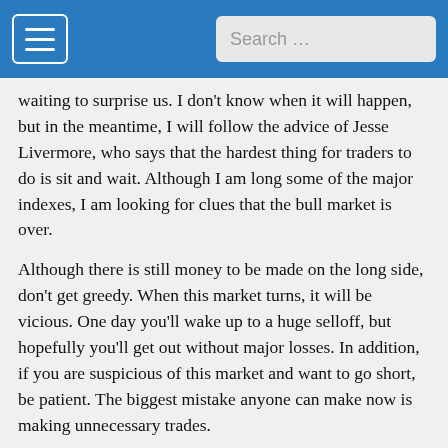Search …
waiting to surprise us. I don't know when it will happen, but in the meantime, I will follow the advice of Jesse Livermore, who says that the hardest thing for traders to do is sit and wait. Although I am long some of the major indexes, I am looking for clues that the bull market is over.
Although there is still money to be made on the long side, don't get greedy. When this market turns, it will be vicious. One day you'll wake up to a huge selloff, but hopefully you'll get out without major losses. In addition, if you are suspicious of this market and want to go short, be patient. The biggest mistake anyone can make now is making unnecessary trades.
Bottom line: Sit and wait.
* Note: These signals are not actionable trades, but only guidelines. Always use other indicators, and your own